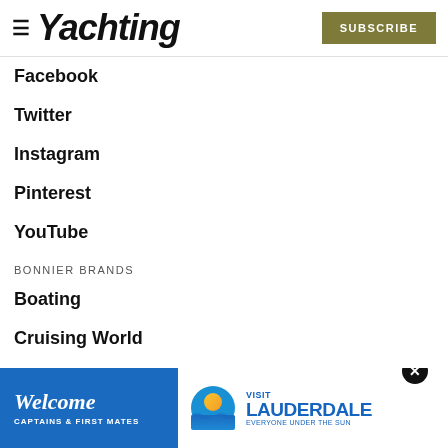Yachting — SUBSCRIBE
Facebook
Twitter
Instagram
Pinterest
YouTube
BONNIER BRANDS
Boating
Cruising World
Florida Travel + Life
Islands
Marlin
Sailing World
[Figure (screenshot): Advertisement banner: Welcome Captains & First Mates — Visit Lauderdale, Everyone Under the Sun]